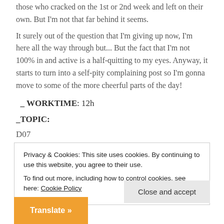those who cracked on the 1st or 2nd week and left on their own. But I'm not that far behind it seems.
It surely out of the question that I'm giving up now, I'm here all the way through but... But the fact that I'm not 100% in and active is a half-quitting to my eyes. Anyway, it starts to turn into a self-pity complaining post so I'm gonna move to some of the more cheerful parts of the day!
_WORKTIME: 12h
_TOPIC:
D07
I was still struggling with the Malloc today. And has started
Privacy & Cookies: This site uses cookies. By continuing to use this website, you agree to their use.
To find out more, including how to control cookies, see here: Cookie Policy
Close and accept
Translate »